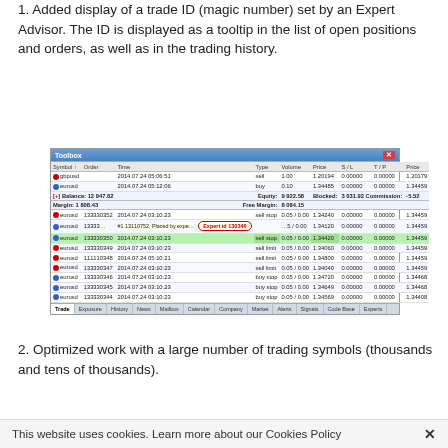1. Added display of a trade ID (magic number) set by an Expert Advisor. The ID is displayed as a tooltip in the list of open positions and orders, as well as in the trading history.
[Figure (screenshot): Screenshot of MetaTrader Toolbox showing trade list with tooltip displaying 'Expert id 130346' on a highlighted row. Columns: Symbol, Order, Time, Type, Volume, Price, S/L, T/P, Price. Tabs at bottom: Trade, Exposure, History, News, Mailbox, Calendar, Company, Market, Alerts, Signals, Code Base, Experts.]
2. Optimized work with a large number of trading symbols (thousands and tens of thousands).
This website uses cookies. Learn more about our Cookies Policy ✕